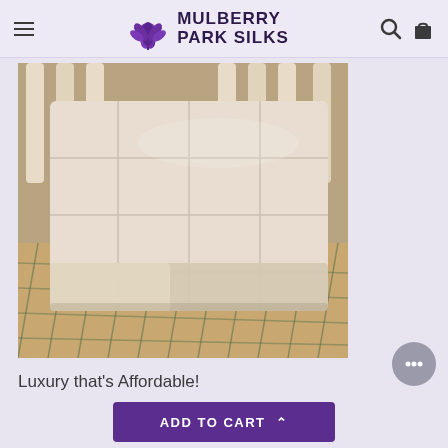Mulberry Park Silks
[Figure (photo): A silk pillow or comforter on a baby crib mattress with a patterned sheet underneath, photographed in warm sepia tones. The silk item appears white/cream with a quilted or tufted surface and satin border.]
Luxury that's Affordable!
ADD TO CART